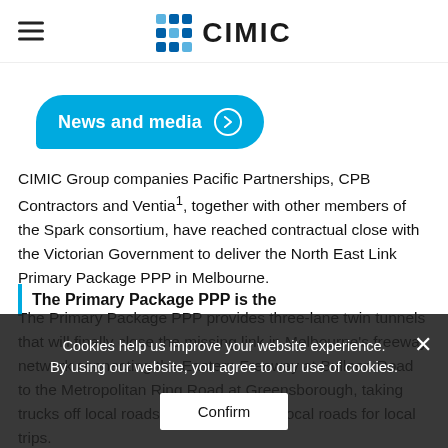CIMIC
News and media
CIMIC Group companies Pacific Partnerships, CPB Contractors and Ventia¹, together with other members of the Spark consortium, have reached contractual close with the Victorian Government to deliver the North East Link Primary Package PPP in Melbourne.
The Primary Package PPP provides three-lane twin tunnels that will finally close the missing link in Melbourne’s freeway network, connecting the Eastern Freeway at Bulleen Road to the Metropolitan Ring Road at Greensborough, taking trucks off local roads, and maintaining local roads for local trips.
Cookies help us improve your website experience. By using our website, you agree to our use of cookies.
The Primary Package PPP is the